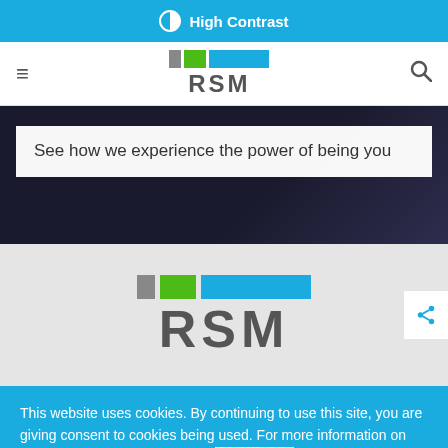⊙ High Contrast
[Figure (logo): RSM logo with gray, green, and blue bars above RSM text in navigation bar]
[Figure (screenshot): Dark hero image background with white text box overlay]
See how we experience the power of being you
[Figure (logo): Large RSM logo with gray, green, and blue bars above large RSM text on gray background]
This website uses cookies. By continuing to use this site, you are giving consent to cookies being used. For more information on cookies and how we use them, click here
Close